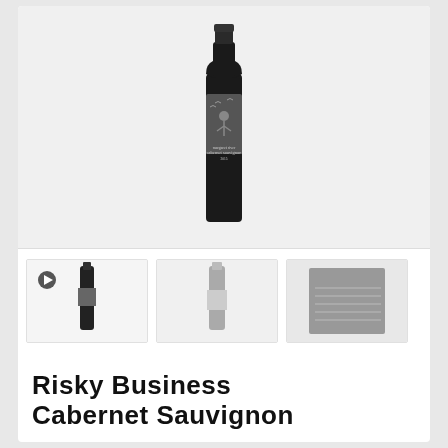[Figure (photo): A dark wine bottle with a decorative label featuring a figure and birds, Margaret River Cabernet Sauvignon]
[Figure (photo): Three thumbnail images of the wine bottle from different angles]
Risky Business Cabernet Sauvignon